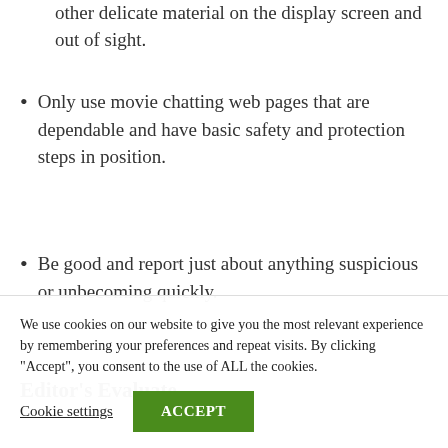other delicate material on the display screen and out of sight.
Only use movie chatting web pages that are dependable and have basic safety and protection steps in position.
Be good and report just about anything suspicious or unbecoming quickly.
Editor's Evaluate
Tinychat.com – Very best Webcam Web site for
We use cookies on our website to give you the most relevant experience by remembering your preferences and repeat visits. By clicking "Accept", you consent to the use of ALL the cookies.